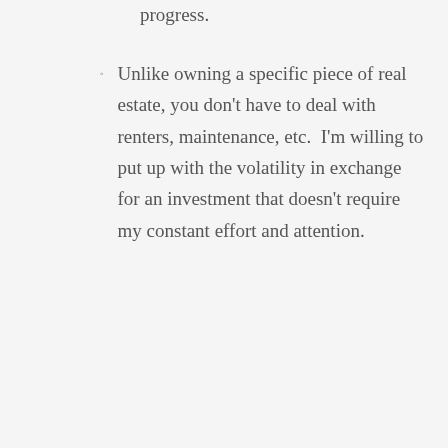progress.
Unlike owning a specific piece of real estate, you don't have to deal with renters, maintenance, etc.  I'm willing to put up with the volatility in exchange for an investment that doesn't require my constant effort and attention.